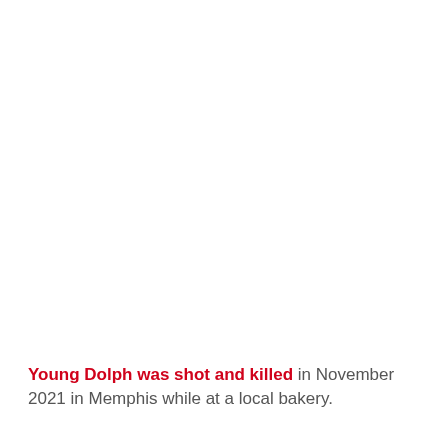Young Dolph was shot and killed in November 2021 in Memphis while at a local bakery.